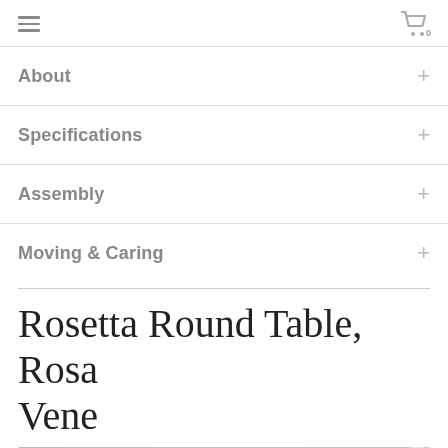Navigation header with hamburger menu and cart icon (0 items)
About +
Specifications +
Assembly +
Moving & Caring +
Rosetta Round Table, Rosa Vene
[Figure (photo): Partial photo of the Rosetta Round Table in Rosa Vene marble, showing a grey marble tabletop surface and a white table leg on the right edge.]